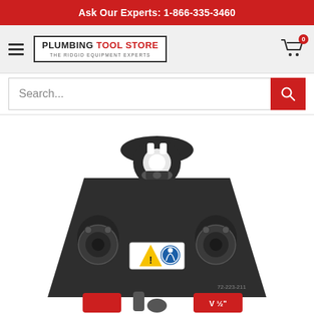Ask Our Experts: 1-866-335-3460
[Figure (logo): Plumbing Tool Store logo - THE RIDGID EQUIPMENT EXPERTS]
Search...
[Figure (photo): Close-up photo of a black press tool jaw/die head, V 1/2 inch size, with safety warning labels (hazard and PPE icons), red accent pieces, and model number 72-223-211 visible on the tool body.]